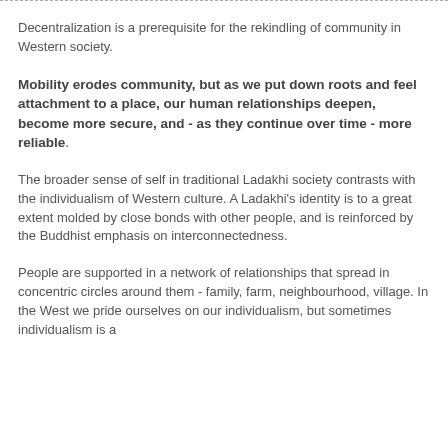Decentralization is a prerequisite for the rekindling of community in Western society.
Mobility erodes community, but as we put down roots and feel attachment to a place, our human relationships deepen, become more secure, and - as they continue over time - more reliable.
The broader sense of self in traditional Ladakhi society contrasts with the individualism of Western culture. A Ladakhi's identity is to a great extent molded by close bonds with other people, and is reinforced by the Buddhist emphasis on interconnectedness.
People are supported in a network of relationships that spread in concentric circles around them - family, farm, neighbourhood, village. In the West we pride ourselves on our individualism, but sometimes individualism is a